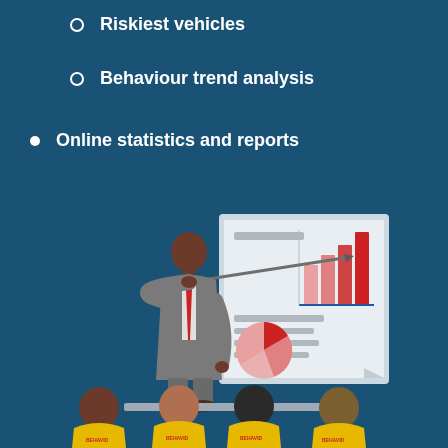Riskiest vehicles
Behaviour trend analysis
Online statistics and reports
[Figure (illustration): Illustration of a man in a grey suit with red tie pointing at a presentation board showing bar charts and pie charts, with four audience members seated in front wearing yellow uniforms with a logo.]